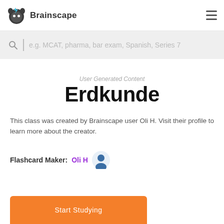Brainscape
e.g. MCAT, pharma, bar exam, Spanish, Series 7
User Generated Content
Erdkunde
This class was created by Brainscape user Oli H. Visit their profile to learn more about the creator.
Flashcard Maker: Oli H
Start Studying